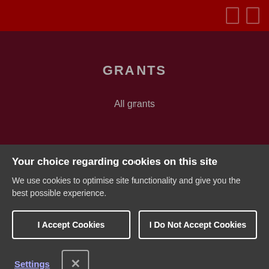GRANTS
All grants
Your choice regarding cookies on this site
We use cookies to optimise site functionality and give you the best possible experience.
I Accept Cookies
I Do Not Accept Cookies
Settings